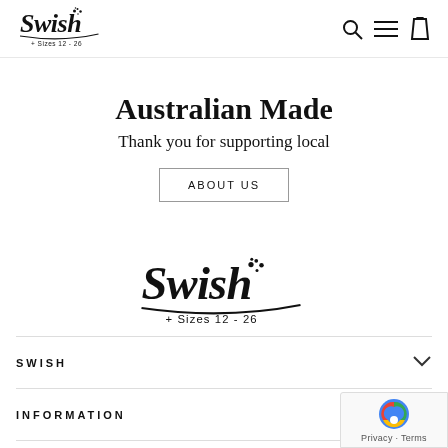[Figure (logo): Swish + Sizes 12-26 logo in script font, top left of header]
[Figure (screenshot): Navigation icons: search magnifier, hamburger menu, shopping bag]
Australian Made
Thank you for supporting local
ABOUT US
[Figure (logo): Swish + Sizes 12-26 logo in script font, centered in footer area]
SWISH
INFORMATION
SUPPORT